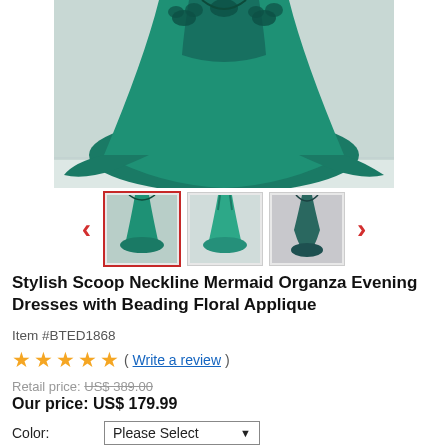[Figure (photo): Teal/emerald green mermaid evening dress with floral applique, shown from front on mannequin, full ball gown skirt with train]
[Figure (photo): Thumbnail 1 (active/selected): teal mermaid dress front view]
[Figure (photo): Thumbnail 2: teal mermaid dress back view]
[Figure (photo): Thumbnail 3: dark teal dress front draped view]
Stylish Scoop Neckline Mermaid Organza Evening Dresses with Beading Floral Applique
Item #BTED1868
★★★★★ ( Write a review )
Retail price: US$ 389.00
Our price: US$ 179.99
Color: Please Select
Size(US): Please Select  Custom size (Inch)
Special Requirements: